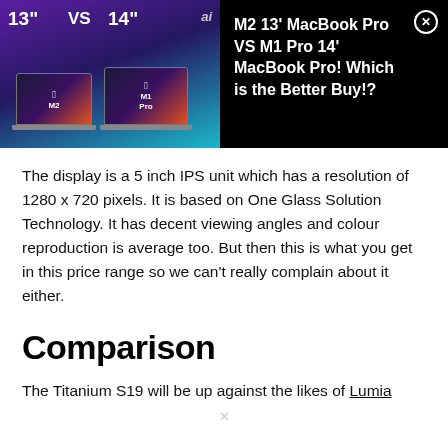[Figure (screenshot): Advertisement banner showing two MacBooks side by side with text 'M2 13' MacBook Pro VS M1 Pro 14' MacBook Pro! Which is the Better Buy!?']
The display is a 5 inch IPS unit which has a resolution of 1280 x 720 pixels. It is based on One Glass Solution Technology. It has decent viewing angles and colour reproduction is average too. But then this is what you get in this price range so we can't really complain about it either.
Comparison
The Titanium S19 will be up against the likes of Lumia